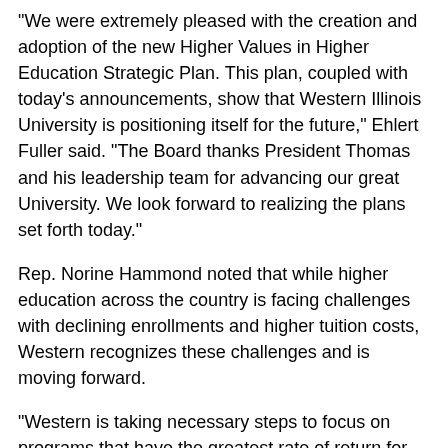"We were extremely pleased with the creation and adoption of the new Higher Values in Higher Education Strategic Plan. This plan, coupled with today's announcements, show that Western Illinois University is positioning itself for the future," Ehlert Fuller said. "The Board thanks President Thomas and his leadership team for advancing our great University. We look forward to realizing the plans set forth today."
Rep. Norine Hammond noted that while higher education across the country is facing challenges with declining enrollments and higher tuition costs, Western recognizes these challenges and is moving forward.
"Western is taking necessary steps to focus on programs that have the greatest rate of return for the students, as well as employers," Hammond added.